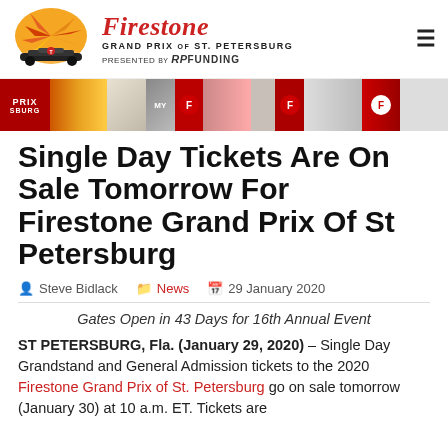[Figure (logo): Firestone Grand Prix of St. Petersburg presented by RP Funding logo with race car and sunburst graphic]
[Figure (photo): Horizontal banner strip showing colorful race event imagery with Firestone logos and crowd/merchandise]
Single Day Tickets Are On Sale Tomorrow For Firestone Grand Prix Of St Petersburg
Steve Bidlack   News   29 January 2020
Gates Open in 43 Days for 16th Annual Event
ST PETERSBURG, Fla. (January 29, 2020) – Single Day Grandstand and General Admission tickets to the 2020 Firestone Grand Prix of St. Petersburg go on sale tomorrow (January 30) at 10 a.m. ET. Tickets are